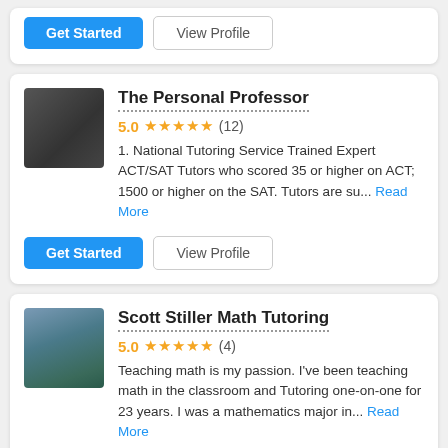[Figure (other): Get Started and View Profile buttons for first tutor card (partial, top of page)]
[Figure (photo): Profile photo of The Personal Professor tutor - young Asian man in black top]
The Personal Professor
5.0 ★★★★★ (12)
1.  National Tutoring Service Trained Expert ACT/SAT Tutors who scored 35 or higher on ACT;  1500 or higher on the SAT.  Tutors are su... Read More
[Figure (other): Get Started and View Profile buttons for The Personal Professor]
[Figure (photo): Profile photo of Scott Stiller Math Tutoring - man outdoors with backpack]
Scott Stiller Math Tutoring
5.0 ★★★★★ (4)
Teaching math is my passion.  I've been teaching math in the classroom and Tutoring one-on-one for 23 years.   I was a mathematics major in... Read More